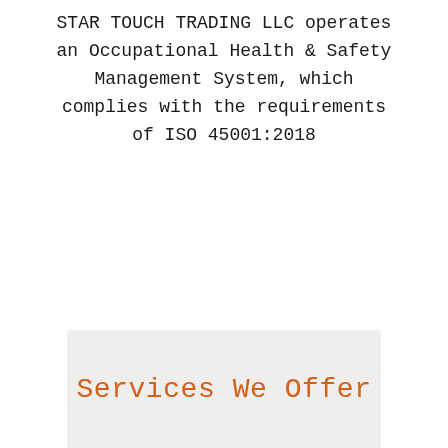STAR TOUCH TRADING LLC operates an Occupational Health & Safety Management System, which complies with the requirements of ISO 45001:2018
Services We Offer